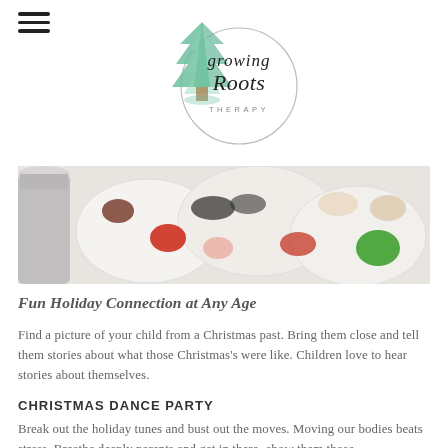[Figure (logo): Growing Roots Therapy logo: a watercolor evergreen tree on the left and a circle with 'growing Roots THERAPY' text in script and caps font]
[Figure (photo): Close-up photo of a white paint palette with dabs of red, green, brown and other holiday-colored paints, with a tin can visible on the left]
Fun Holiday Connection at Any Age
Find a picture of your child from a Christmas past. Bring them close and tell them stories about what those Christmas's were like. Children love to hear stories about themselves.
CHRISTMAS DANCE PARTY
Break out the holiday tunes and bust out the moves. Moving our bodies beats stress. Breathe deeply parents and get in there- show them those